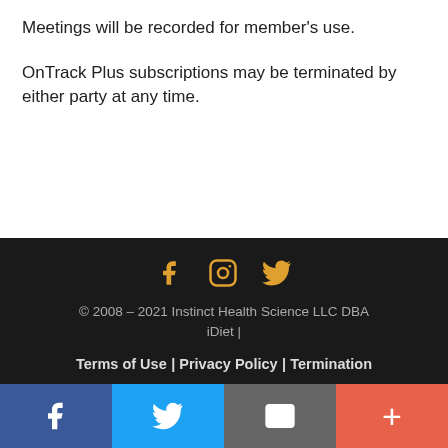Meetings will be recorded for member’s use.
OnTrack Plus subscriptions may be terminated by either party at any time.
Social icons (Facebook, Instagram, Twitter)
© 2008 – 2021 Instinct Health Science LLC DBA iDiet |
Terms of Use | Privacy Policy | Termination Rights | Member Login
iDiet is a service mark registered in the US
Bottom bar: Facebook | Twitter | Email | Plus